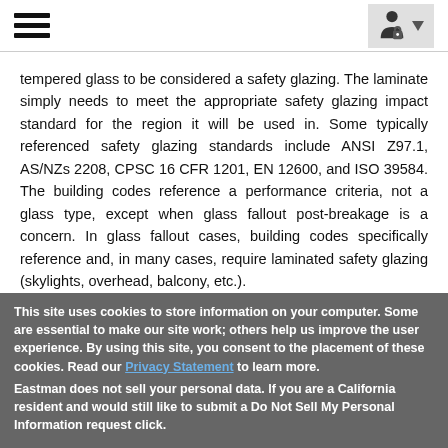[hamburger menu] [user/lock icon with dropdown arrow]
tempered glass to be considered a safety glazing. The laminate simply needs to meet the appropriate safety glazing impact standard for the region it will be used in. Some typically referenced safety glazing standards include ANSI Z97.1, AS/NZs 2208, CPSC 16 CFR 1201, EN 12600, and ISO 39584. The building codes reference a performance criteria, not a glass type, except when glass fallout post-breakage is a concern. In glass fallout cases, building codes specifically reference and, in many cases, require laminated safety glazing (skylights, overhead, balcony, etc.).
This site uses cookies to store information on your computer. Some are essential to make our site work; others help us improve the user experience. By using this site, you consent to the placement of these cookies. Read our Privacy Statement to learn more.
Eastman does not sell your personal data. If you are a California resident and would still like to submit a Do Not Sell My Personal Information request click.